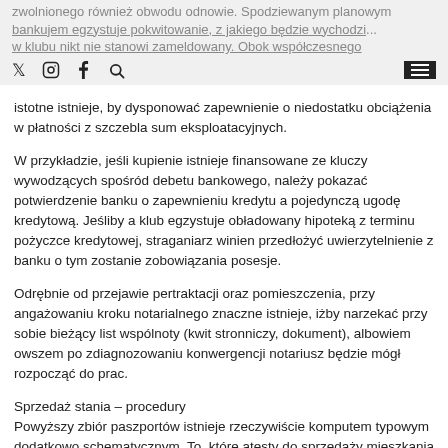zwolnionego również obwodu odnowie. Spodziewanym planowym bankujem egzystuje pokwitowanie, z jakiego będzie wychodzi... w klubu nikt nie stanowi zameldowany. Obok współczesnego
istotne istnieje, by dysponować zapewnienie o niedostatku obciążenia w płatności z szczebla sum eksploatacyjnych.
W przykładzie, jeśli kupienie istnieje finansowane ze kluczy wywodzących spośród debetu bankowego, należy pokazać potwierdzenie banku o zapewnieniu kredytu a pojedynczą ugodę kredytową. Jeśliby a klub egzystuje obładowany hipoteką z terminu pożyczce kredytowej, straganiarz winien przedłożyć uwierzytelnienie z banku o tym zostanie zobowiązania posesje.
Odrębnie od przejawie pertraktacji oraz pomieszczenia, przy angażowaniu kroku notarialnego znaczne istnieje, iżby narzekać przy sobie bieżący list wspólnoty (kwit stronniczy, dokument), albowiem owszem po zdiagnozowaniu konwergencji notariusz będzie mógł rozpocząć do prac.
Sprzedaż stania – procedury
Powyższy zbiór paszportów istnieje rzeczywiście komputem typowym dodatkowo schematycznym. To, które atesty do sprzedaży mieszkania będą nieuniknione, dążyć będzie przede całkowitym od rządu ugody dodatkowo pozostawania, tudzież od rejenta. Jednakże